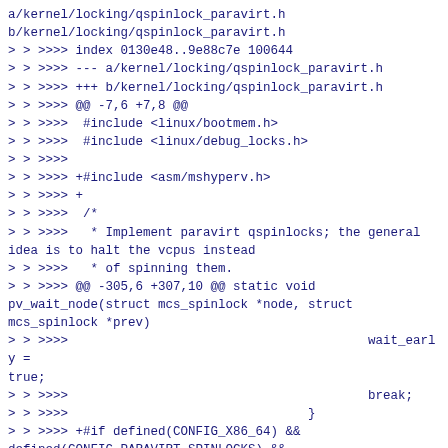a/kernel/locking/qspinlock_paravirt.h
b/kernel/locking/qspinlock_paravirt.h
> > >>>> index 0130e48..9e88c7e 100644
> > >>>> --- a/kernel/locking/qspinlock_paravirt.h
> > >>>> +++ b/kernel/locking/qspinlock_paravirt.h
> > >>>> @@ -7,6 +7,8 @@
> > >>>>  #include <linux/bootmem.h>
> > >>>>  #include <linux/debug_locks.h>
> > >>>>
> > >>>> +#include <asm/mshyperv.h>
> > >>>> +
> > >>>>  /*
> > >>>>   * Implement paravirt qspinlocks; the general idea is to halt the vcpus instead
> > >>>>   * of spinning them.
> > >>>> @@ -305,6 +307,10 @@ static void pv_wait_node(struct mcs_spinlock *node, struct mcs_spinlock *prev)
> > >>>>                                        wait_early = true;
> > >>>>                                        break;
> > >>>>                                }
> > >>>> +#if defined(CONFIG_X86_64) && defined(CONFIG_PARAVIRT_SPINLOCKS) && IS_ENABLED(CONFIG_HYPERV)
> > >>>> +               if (!hv_notify_long_spin_wait(SPIN_THRESHOLD - loop))
> > >>>> +                       break;
> > >>>> +#endif
>